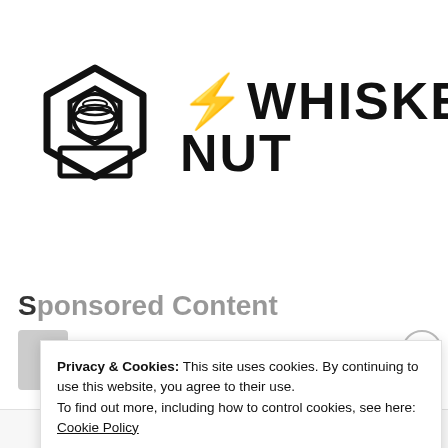[Figure (logo): Whiskey Nut logo — a hex nut icon on the left and the text 'WHISKEY NUT' in bold stylized font on the right]
Sponsored Content
Privacy & Cookies: This site uses cookies. By continuing to use this website, you agree to their use.
To find out more, including how to control cookies, see here: Cookie Policy
Close and accept